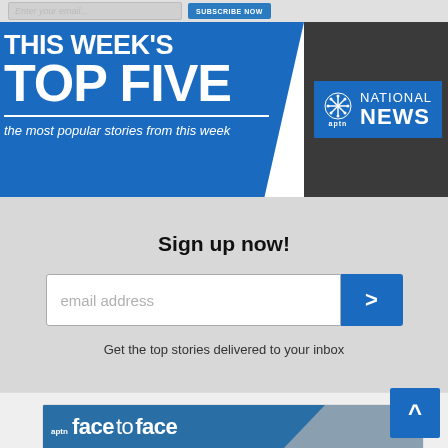[Figure (screenshot): Top bar with email input field and subscribe button (partially cropped)]
[Figure (infographic): APTN National News banner: 'THIS WEEK'S TOP FIVE — the most popular stories from this week' on blue background with APTN National News logo on dark background]
Sign up now!
email address
Get the top stories delivered to your inbox
[Figure (screenshot): APTN facetoface show banner/thumbnail at bottom of page with scroll-to-top button]